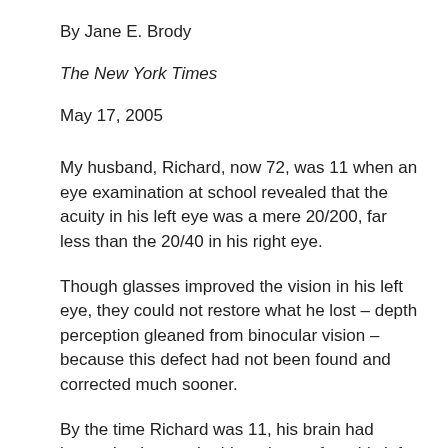By Jane E. Brody
The New York Times
May 17, 2005
My husband, Richard, now 72, was 11 when an eye examination at school revealed that the acuity in his left eye was a mere 20/200, far less than the 20/40 in his right eye.
Though glasses improved the vision in his left eye, they could not restore what he lost – depth perception gleaned from binocular vision – because this defect had not been found and corrected much sooner.
By the time Richard was 11, his brain had learned to ignore the blurry image from his left eye, and he was unable to coordinate the images from both eyes to form a view of the world that clearly shows how near or far objects are. As a